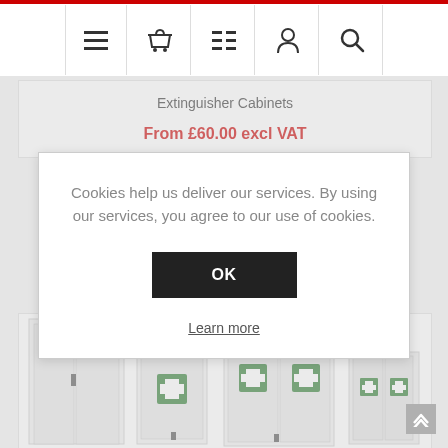Navigation bar with menu, basket, list, account, and search icons
Extinguisher Cabinets
From £60.00 excl VAT
Cookies help us deliver our services. By using our services, you agree to our use of cookies.
OK
Learn more
[Figure (photo): White metal cabinets and first aid cabinets displayed in a product listing grid]